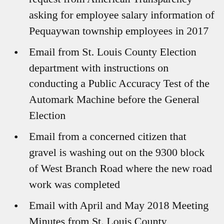request from American Transparency asking for employee salary information of Pequaywan township employees in 2017
Email from St. Louis County Election department with instructions on conducting a Public Accuracy Test of the Automark Machine before the General Election
Email from a concerned citizen that gravel is washing out on the 9300 block of West Branch Road where the new road work was completed
Email with April and May 2018 Meeting Minutes from St. Louis County Association of Townships
Email of November Newsletter from Minnesota Association of Townships
Email from St. Louis County Planning and